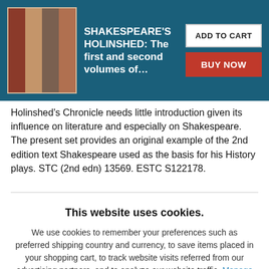[Figure (illustration): Book product listing banner with teal background showing stack of red/brown book spines on the left, book title in white text in center, and two buttons (ADD TO CART, BUY NOW) on the right.]
Holinshed's Chronicle needs little introduction given its influence on literature and especially on Shakespeare. The present set provides an original example of the 2nd edition text Shakespeare used as the basis for his History plays. STC (2nd edn) 13569. ESTC S122178.
This website uses cookies.
We use cookies to remember your preferences such as preferred shipping country and currency, to save items placed in your shopping cart, to track website visits referred from our advertising partners, and to analyze our website traffic. Manage your privacy settings.
AGREE AND CLOSE